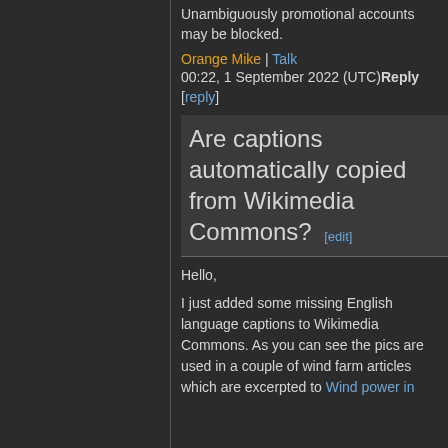Unambiguously promotional accounts may be blocked.
Orange Mike | Talk 00:22, 1 September 2022 (UTC)Reply
[reply]
Are captions automatically copied from Wikimedia Commons? [edit]
Hello,
I just added some missing English language captions to Wikimedia Commons. As you can see the pics are used in a couple of wind farm articles which are excerpted to Wind power in